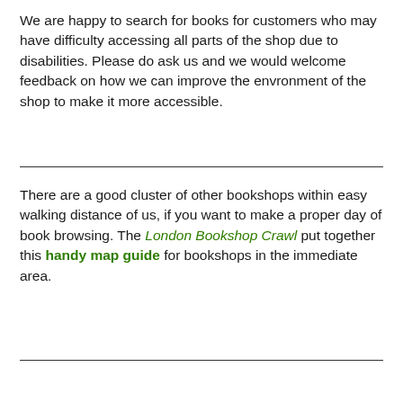We are happy to search for books for customers who may have difficulty accessing all parts of the shop due to disabilities. Please do ask us and we would welcome feedback on how we can improve the envronment of the shop to make it more accessible.
There are a good cluster of other bookshops within easy walking distance of us, if you want to make a proper day of book browsing. The London Bookshop Crawl put together this handy map guide for bookshops in the immediate area.